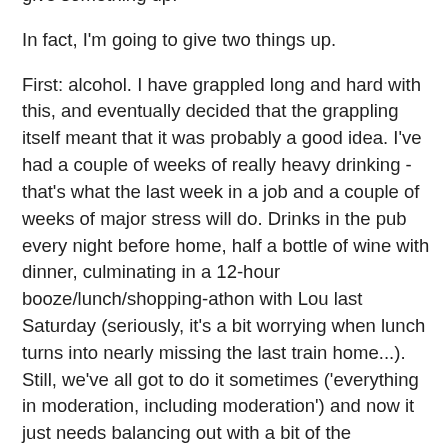give something up.
In fact, I'm going to give two things up.
First: alcohol.  I have grappled long and hard with this, and eventually decided that the grappling itself meant that it was probably a good idea.  I've had a couple of weeks of really heavy drinking - that's what the last week in a job and a couple of weeks of major stress will do.  Drinks in the pub every night before home, half a bottle of wine with dinner, culminating in a 12-hour booze/lunch/shopping-athon with Lou last Saturday (seriously, it's a bit worrying when lunch turns into nearly missing the last train home...).  Still, we've all got to do it sometimes ('everything in moderation, including moderation') and now it just needs balancing out with a bit of the opposite.
This vague idea was finally decided upon after some advice from my aunt, Karen - she is a Buddhist and as such gave up alcohol some years ago.  After my prevaricating on Twitter (mostly about circling events on my calendar at which it would sadden me not to be at least mildly pissed - after all, it's not trips to the Miditto...